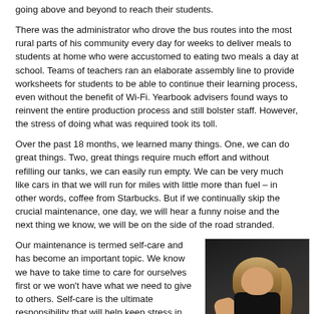going above and beyond to reach their students.
There was the administrator who drove the bus routes into the most rural parts of his community every day for weeks to deliver meals to students at home who were accustomed to eating two meals a day at school. Teams of teachers ran an elaborate assembly line to provide worksheets for students to be able to continue their learning process, even without the benefit of Wi-Fi. Yearbook advisers found ways to reinvent the entire production process and still bolster staff. However, the stress of doing what was required took its toll.
Over the past 18 months, we learned many things. One, we can do great things. Two, great things require much effort and without refilling our tanks, we can easily run empty. We can be very much like cars in that we will run for miles with little more than fuel – in other words, coffee from Starbucks. But if we continually skip the crucial maintenance, one day, we will hear a funny noise and the next thing we know, we will be on the side of the road stranded.
Our maintenance is termed self-care and has become an important topic. We know we have to take time to care for ourselves first or we won't have what we need to give to others. Self-care is the ultimate responsibility that will help keep stress in check if practiced routinely. It's key to building resiliency.
[Figure (photo): A woman with long blonde hair wearing a black tank top and holding blue and white boxing gloves, photographed in a dark gym setting, looking over her shoulder.]
Resilience is the muscle that keeps us going. If we are not careful and don't build this muscle, we risk losing the